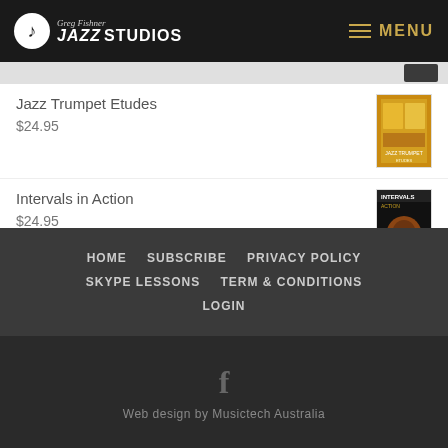Greg Fishner Jazz Studios | MENU
Jazz Trumpet Etudes
$24.95
Intervals in Action
$24.95
The Lobster Theory (and other analogies for jazz improvisation)
$29.95
HOME   SUBSCRIBE   PRIVACY POLICY   SKYPE LESSONS   TERM & CONDITIONS   LOGIN
Web design by Musictech Australia